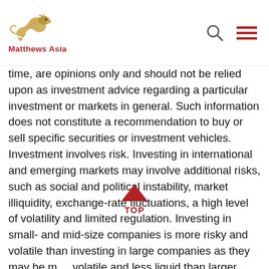Matthews Asia
time, are opinions only and should not be relied upon as investment advice regarding a particular investment or markets in general. Such information does not constitute a recommendation to buy or sell specific securities or investment vehicles. Investment involves risk. Investing in international and emerging markets may involve additional risks, such as social and political instability, market illiquidity, exchange-rate fluctuations, a high level of volatility and limited regulation. Investing in small- and mid-size companies is more risky and volatile than investing in large companies as they may be more volatile and less liquid than larger companies. Past performance is no guarantee of future results. The information contained herein has been derived from sources believed to be reliable and accurate at the time of compilation, but no